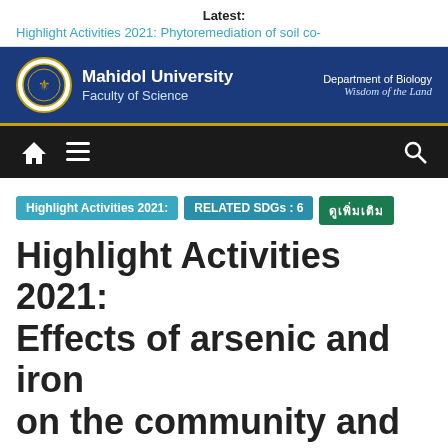Latest: Highlight Activities 2021: Phytoremediation of soil co-
[Figure (logo): Mahidol University Faculty of Science header banner with university logo, name, faculty name, and Department of Biology motto]
[Figure (screenshot): Navigation bar with home icon, hamburger menu icon, and search icon on dark background]
Highlight Activities 2021:
RELATED SDGs : 6
ดูเพิ่มเติม
Highlight Activities 2021: Effects of arsenic and iron on the community and abundance of arsenite-oxidizing